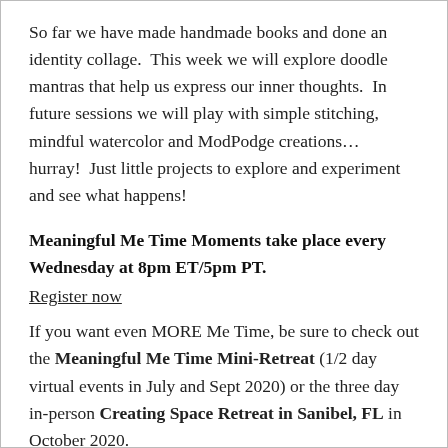So far we have made handmade books and done an identity collage.  This week we will explore doodle mantras that help us express our inner thoughts.  In future sessions we will play with simple stitching, mindful watercolor and ModPodge creations…  hurray!  Just little projects to explore and experiment and see what happens!
Meaningful Me Time Moments take place every Wednesday at 8pm ET/5pm PT.
Register now
If you want even MORE Me Time, be sure to check out the Meaningful Me Time Mini-Retreat (1/2 day virtual events in July and Sept 2020) or the three day in-person Creating Space Retreat in Sanibel, FL in October 2020.
Thanks for reading to the end 😉  Let me know what you think of